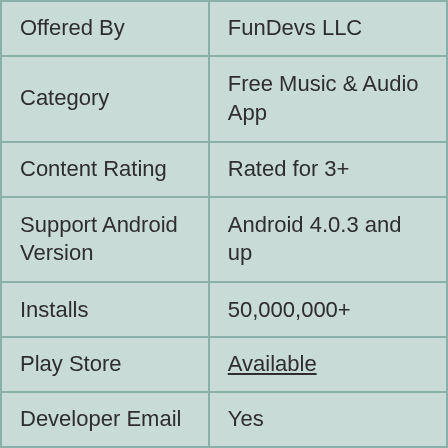| Field | Value |
| --- | --- |
| Offered By | FunDevs LLC |
| Category | Free Music & Audio App |
| Content Rating | Rated for 3+ |
| Support Android Version | Android 4.0.3 and up |
| Installs | 50,000,000+ |
| Play Store | Available |
| Developer Email | Yes |